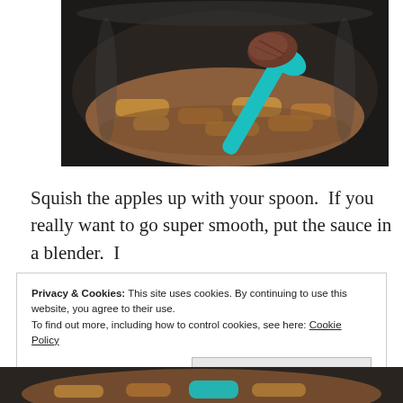[Figure (photo): A slow cooker with cooked apples/applesauce being lifted with a teal/turquoise spoon, showing chunky apple mixture.]
Squish the apples up with your spoon.  If you really want to go super smooth, put the sauce in a blender.  I
Privacy & Cookies: This site uses cookies. By continuing to use this website, you agree to their use.
To find out more, including how to control cookies, see here: Cookie Policy
Close and accept
[Figure (photo): Bottom portion of slow cooker with apple mixture and teal spoon visible.]